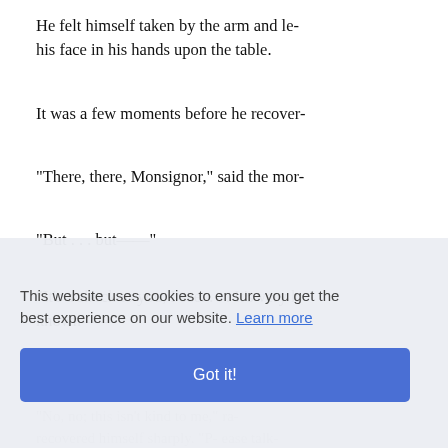He felt himself taken by the arm and le- his face in his hands upon the table.
It was a few moments before he recover-
"There, there, Monsignor," said the mor-
"But . . . but——"
"It's a shock to you, I see. . . . It's very k- known——"
"I never dreamt of it. I never thought it c-
"No, no; this isn’t kind to me," ra- recovered himself sharply. "P- ease talk- Cardinal."
"I'll do anything—anything in my powe-
This website uses cookies to ensure you get the best experience on our website. Learn more
Got it!